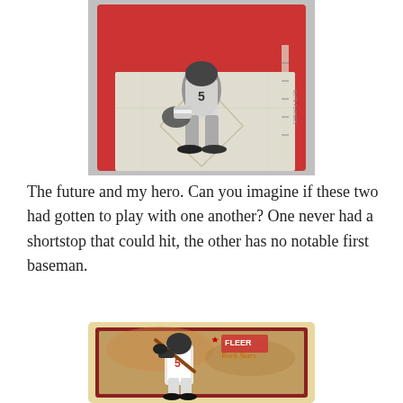[Figure (photo): Baseball card image showing a player in a fielding stance, wearing a gray uniform with number 5, crouching low with a glove. Red/maroon background with decorative elements.]
The future and my hero. Can you imagine if these two had gotten to play with one another? One never had a shortstop that could hit, the other has no notable first baseman.
[Figure (photo): Fleer baseball card showing a batter in a hitting stance, wearing a white uniform with number 5. The card has a cream/tan border with a dark red inner border. The Fleer logo and 'Rock Stars' text appear in the upper right.]